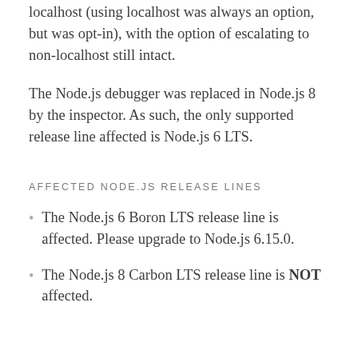localhost (using localhost was always an option, but was opt-in), with the option of escalating to non-localhost still intact.
The Node.js debugger was replaced in Node.js 8 by the inspector. As such, the only supported release line affected is Node.js 6 LTS.
AFFECTED NODE.JS RELEASE LINES
The Node.js 6 Boron LTS release line is affected. Please upgrade to Node.js 6.15.0.
The Node.js 8 Carbon LTS release line is NOT affected.